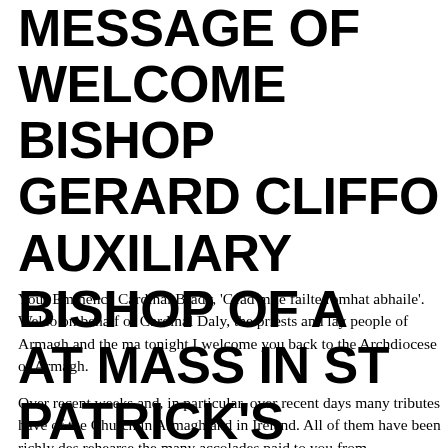MESSAGE OF WELCOME BISHOP GERARD CLIFFO AUXILIARY BISHOP OF A AT MASS IN ST PATRICK'S CATHEDRAL, ARMAGH
Your Eminence Cardinal Brady, 'Cead mile failte romhat abhaile'. Welcome on behalf of Cardinal Daly, the priests and lay people of Armagh and the ma tonight I welcome you back to the Archdiocese of Armagh.
Over recent weeks and, in particular, over recent days many tributes have of the Church in Armagh and in Ireland. All of them have been richly des rehearse the many accolades paid to you from representatives of Church those tributes speak of your deep faith, your generosity of spirit, your mo than anything they have spoken of your single-mindedness in your comm Armagh and to the Church in Ireland.
Today Armagh and Ireland are both very proud of the great honour besto